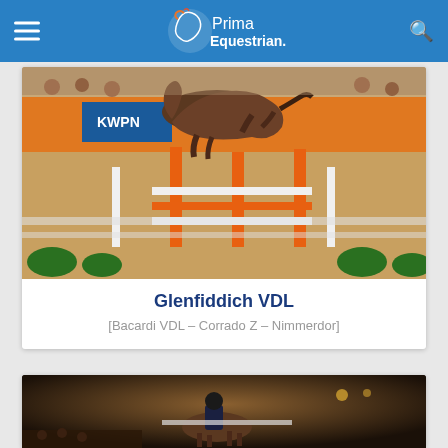Prima Equestrian
[Figure (photo): Horse jumping over fence at KWPN event, orange and white jump poles, indoor arena with orange banners]
Glenfiddich VDL
[Bacardi VDL – Corrado Z – Nimmerdor]
[Figure (photo): Rider on horse jumping in indoor arena at night, audience visible in background]